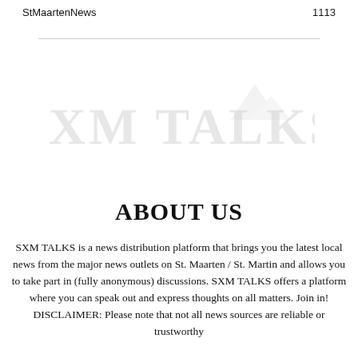StMaartenNews	1113
[Figure (logo): Watermark logo text 'SXM TALKS' with a small mountain/wave icon, displayed in very light gray across the center of the page]
ABOUT US
SXM TALKS is a news distribution platform that brings you the latest local news from the major news outlets on St. Maarten / St. Martin and allows you to take part in (fully anonymous) discussions. SXM TALKS offers a platform where you can speak out and express thoughts on all matters. Join in! DISCLAIMER: Please note that not all news sources are reliable or trustworthy